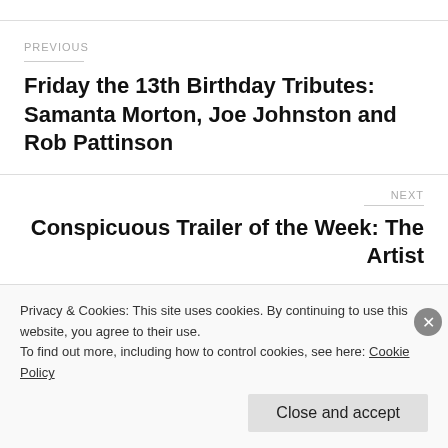PREVIOUS
Friday the 13th Birthday Tributes: Samanta Morton, Joe Johnston and Rob Pattinson
NEXT
Conspicuous Trailer of the Week: The Artist
Privacy & Cookies: This site uses cookies. By continuing to use this website, you agree to their use. To find out more, including how to control cookies, see here: Cookie Policy
Close and accept